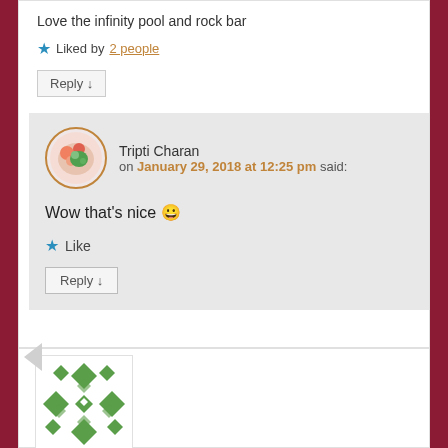Love the infinity pool and rock bar
Liked by 2 people
Reply ↓
Tripti Charan on January 29, 2018 at 12:25 pm said:
Wow that's nice 😀
Like
Reply ↓
[Figure (illustration): Green diamond pattern quilt-like avatar icon]